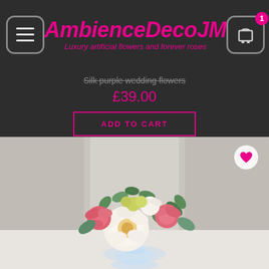AmbienceDecoJM – Luxury artificial flowers and forever roses
Silk purple wedding flowers
£39.00
ADD TO CART
[Figure (photo): A floral arrangement of cream peonies, pink roses, and eucalyptus leaves in a clear glass pedestal vase, on a white surface with a light grey panelled background.]